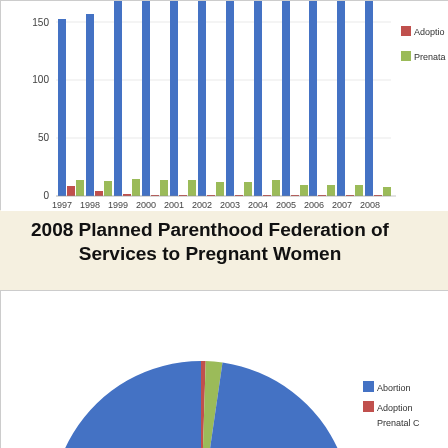[Figure (grouped-bar-chart): Services to Pregnant Women (1997–2008)]
2008 Planned Parenthood Federation of America Services to Pregnant Women
[Figure (pie-chart): 2008 Planned Parenthood Federation of America Services to Pregnant Women]